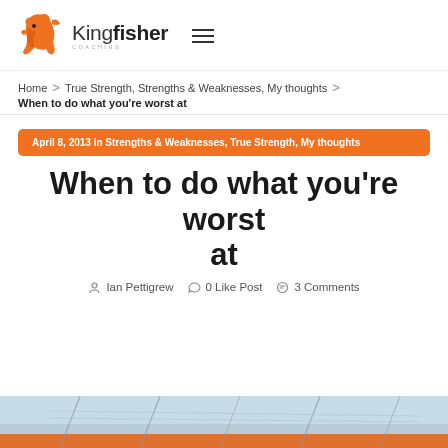Kingfisher Coaching
Home > True Strength, Strengths & Weaknesses, My thoughts > When to do what you're worst at
April 8, 2013 in Strengths & Weaknesses, True Strength, My thoughts
When to do what you're worst at
Ian Pettigrew   0 Like Post   3 Comments
[Figure (photo): Bottom strip showing partial photo of a boat or structure against blue sky and orange tones]